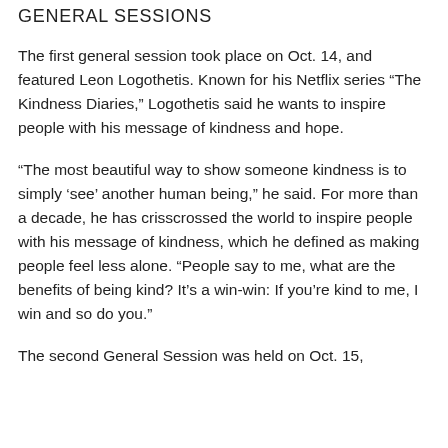GENERAL SESSIONS
The first general session took place on Oct. 14, and featured Leon Logothetis. Known for his Netflix series “The Kindness Diaries,” Logothetis said he wants to inspire people with his message of kindness and hope.
“The most beautiful way to show someone kindness is to simply ‘see’ another human being,” he said. For more than a decade, he has crisscrossed the world to inspire people with his message of kindness, which he defined as making people feel less alone. “People say to me, what are the benefits of being kind? It’s a win-win: If you’re kind to me, I win and so do you.”
The second General Session was held on Oct. 15,